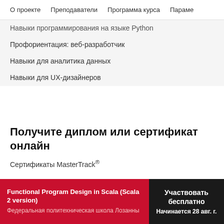О проекте   Преподаватели   Программа курса   Параме
Навыки программирования на языке Python
Профориентация: веб-разработчик
Навыки для аналитика данных
Навыки для UX-дизайнеров
Получите диплом или сертификат онлайн
Сертификаты MasterTrack®
Functional Program Design in Scala (Scala 2 version)
Федеральная политехническая школа Лозанны
Участвовать бесплатно
Начинается 28 авг. г.